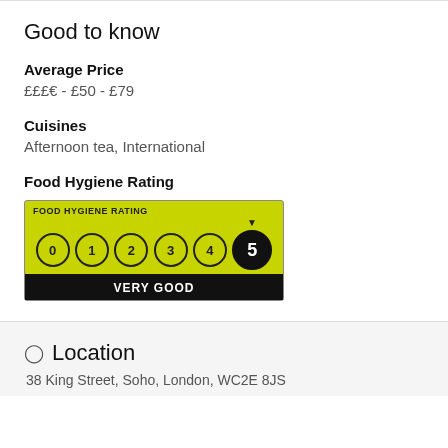Good to know
Average Price
£££€ - £50 - £79
Cuisines
Afternoon tea, International
Food Hygiene Rating
[Figure (infographic): Food Hygiene Rating badge showing rating 5 - Very Good, with numbers 0-5 displayed, arrow pointing to 5]
Location
38 King Street, Soho, London, WC2E 8JS